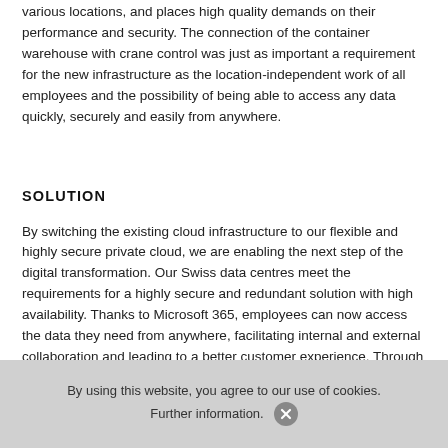various locations, and places high quality demands on their performance and security. The connection of the container warehouse with crane control was just as important a requirement for the new infrastructure as the location-independent work of all employees and the possibility of being able to access any data quickly, securely and easily from anywhere.
SOLUTION
By switching the existing cloud infrastructure to our flexible and highly secure private cloud, we are enabling the next step of the digital transformation. Our Swiss data centres meet the requirements for a highly secure and redundant solution with high availability. Thanks to Microsoft 365, employees can now access the data they need from anywhere, facilitating internal and external collaboration and leading to a better customer experience. Through
By using this website, you agree to our use of cookies. Further information.